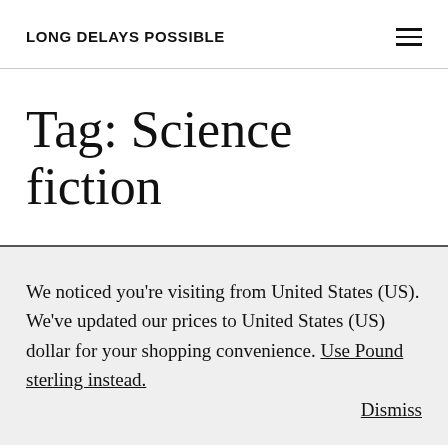LONG DELAYS POSSIBLE
Tag: Science fiction
We noticed you're visiting from United States (US). We've updated our prices to United States (US) dollar for your shopping convenience. Use Pound sterling instead. Dismiss